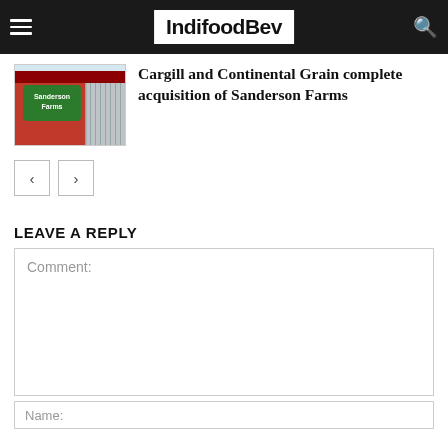IndifoodBev
[Figure (photo): Thumbnail photo of a Sanderson Farms red barn-style building with signage]
Cargill and Continental Grain complete acquisition of Sanderson Farms
< (previous page button)
> (next page button)
LEAVE A REPLY
Comment:
Name: